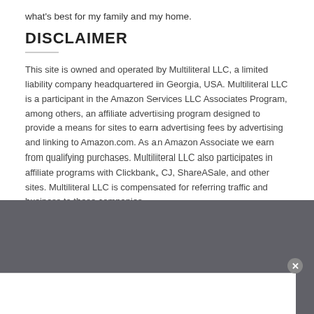what's best for my family and my home.
DISCLAIMER
This site is owned and operated by Multiliteral LLC, a limited liability company headquartered in Georgia, USA. Multiliteral LLC is a participant in the Amazon Services LLC Associates Program, among others, an affiliate advertising program designed to provide a means for sites to earn advertising fees by advertising and linking to Amazon.com. As an Amazon Associate we earn from qualifying purchases. Multiliteral LLC also participates in affiliate programs with Clickbank, CJ, ShareASale, and other sites. Multiliteral LLC is compensated for referring traffic and business to these companies.
[Figure (other): Dark gray footer background section of a webpage]
[Figure (other): White popup/overlay box with a close button (X) in the upper right corner]